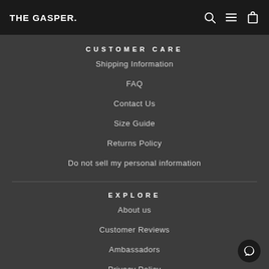THE GASPER.
CUSTOMER CARE
Shipping Information
FAQ
Contact Us
Size Guide
Returns Policy
Do not sell my personal information
EXPLORE
About us
Customer Reviews
Ambassadors
Privacy Policy